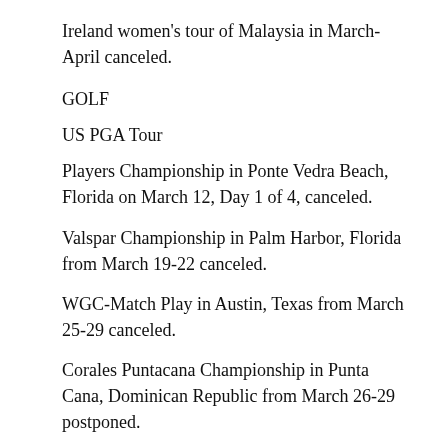Ireland women’s tour of Malaysia in March-April canceled.
GOLF
US PGA Tour
Players Championship in Ponte Vedra Beach, Florida on March 12, Day 1 of 4, canceled.
Valspar Championship in Palm Harbor, Florida from March 19-22 canceled.
WGC-Match Play in Austin, Texas from March 25-29 canceled.
Corales Puntacana Championship in Punta Cana, Dominican Republic from March 26-29 postponed.
Texas Open in San Antonio from April 2-5 canceled.
Masters in Augusta, Georgia from April 9-12 canceled.